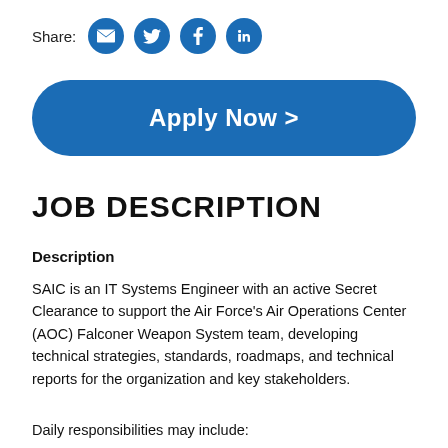Share:
[Figure (infographic): Share icons: email, Twitter, Facebook, LinkedIn — blue circles with white icons]
[Figure (infographic): Apply Now > button — large blue rounded rectangle with white bold text]
JOB DESCRIPTION
Description
SAIC is an IT Systems Engineer with an active Secret Clearance to support the Air Force's Air Operations Center (AOC) Falconer Weapon System team, developing technical strategies, standards, roadmaps, and technical reports for the organization and key stakeholders.
Daily responsibilities may include: